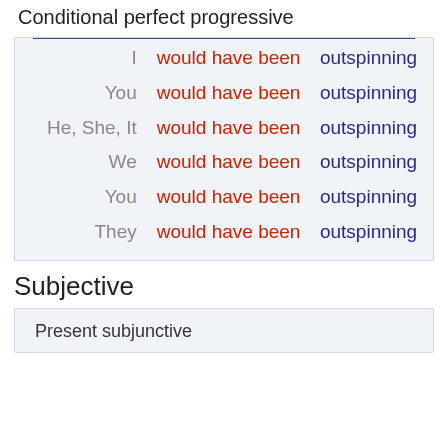Conditional perfect progressive
| Pronoun | Auxiliary | Main Verb |
| --- | --- | --- |
| I | would have been | outspinning |
| You | would have been | outspinning |
| He, She, It | would have been | outspinning |
| We | would have been | outspinning |
| You | would have been | outspinning |
| They | would have been | outspinning |
Subjective
Present subjunctive